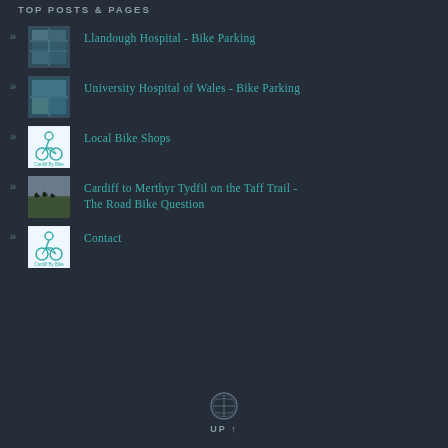TOP POSTS & PAGES
Llandough Hospital - Bike Parking
University Hospital of Wales - Bike Parking
Local Bike Shops
Cardiff to Merthyr Tydfil on the Taff Trail - The Road Bike Question
Contact
UP ↑